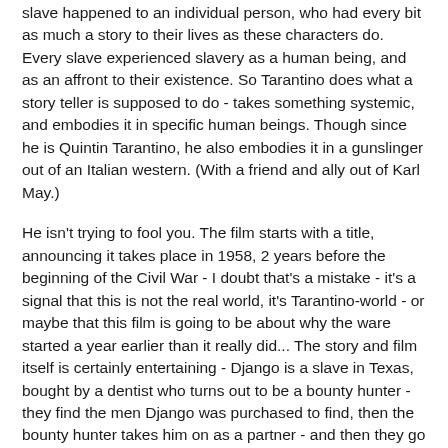slave happened to an individual person, who had every bit as much a story to their lives as these characters do. Every slave experienced slavery as a human being, and as an affront to their existence. So Tarantino does what a story teller is supposed to do - takes something systemic, and embodies it in specific human beings. Though since he is Quintin Tarantino, he also embodies it in a gunslinger out of an Italian western. (With a friend and ally out of Karl May.)
He isn't trying to fool you. The film starts with a title, announcing it takes place in 1958, 2 years before the beginning of the Civil War - I doubt that's a mistake - it's a signal that this is not the real world, it's Tarantino-world - or maybe that this film is going to be about why the ware started a year earlier than it really did... The story and film itself is certainly entertaining - Django is a slave in Texas, bought by a dentist who turns out to be a bounty hunter - they find the men Django was purchased to find, then the bounty hunter takes him on as a partner - and then they go to find Django's wife. Which brings us to one of Tarantino's patented showdowns, between Django and King Schulz and the slaveowner, a pretentious fool who runs "mandingo